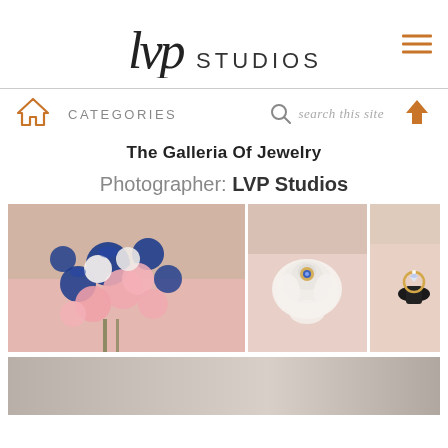lvp STUDIOS
CATEGORIES  search this site
The Galleria Of Jewelry
Photographer: LVP Studios
[Figure (photo): Three photos in a row: left large photo of a wedding bouquet with pink and royal blue roses on a pink surface; center photo of a white rose with a blue gemstone ring; right photo of a ring on a dark holder on pink surface.]
[Figure (photo): Partial bottom photo showing a blurred grey/brown background, beginning of another image.]